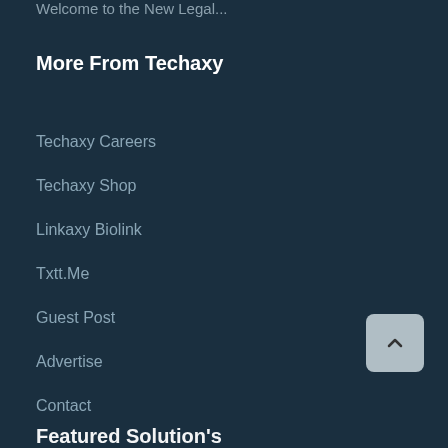Welcome to the New Legal
More From Techaxy
Techaxy Careers
Techaxy Shop
Linkaxy Biolink
Txtt.Me
Guest Post
Advertise
Contact
Featured Solution's